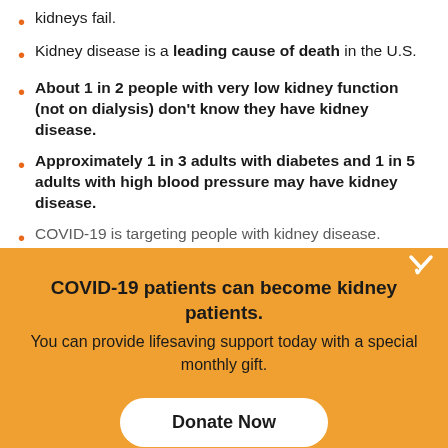kidneys fail.
Kidney disease is a leading cause of death in the U.S.
About 1 in 2 people with very low kidney function (not on dialysis) don't know they have kidney disease.
Approximately 1 in 3 adults with diabetes and 1 in 5 adults with high blood pressure may have kidney disease.
COVID-19 is targeting people with kidney disease.
COVID-19 patients can become kidney patients. You can provide lifesaving support today with a special monthly gift.
Donate Now